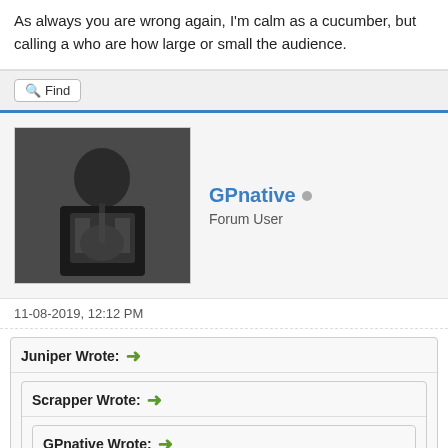As always you are wrong again, I'm calm as a cucumber, but calling a who are how large or small the audience.
Find
GPnative
Forum User
11-08-2019, 12:12 PM
Juniper Wrote: →
Scrapper Wrote: →
GPnative Wrote: →
bbqboy Wrote: →
November 7, 2019 (Thursday)